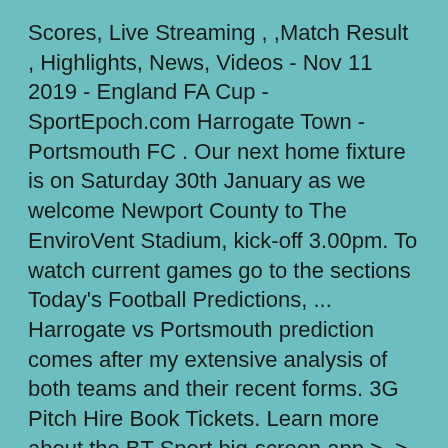Scores, Live Streaming , ,Match Result , Highlights, News, Videos - Nov 11 2019 - England FA Cup - SportEpoch.com Harrogate Town - Portsmouth FC . Our next home fixture is on Saturday 30th January as we welcome Newport County to The EnviroVent Stadium, kick-off 3.00pm. To watch current games go to the sections Today's Football Predictions, ... Harrogate vs Portsmouth prediction comes after my extensive analysis of both teams and their recent forms. 3G Pitch Hire Book Tickets. Learn more about the BT Sport big-screen app >. > BT Sport customers can bookmark this page, return at the start of our live coverage and then open this Harrogate v Portsmouth live stream. Harrogate Town vs Portsmouth is best watched with 4g or more on a computer, iPad, iPhone or Android device. Watch Harrogate Town vs Portsmouth Live Streaming Via The Bet365 Live Streaming Service. Full-back Ross McCrorie is ruled… Football Basketball Settings Feedback FAQ Terms Of Use Advertise API Service Settings. EFL Trophy 10/11/2020. Harrogate's Manager Simon Weaver